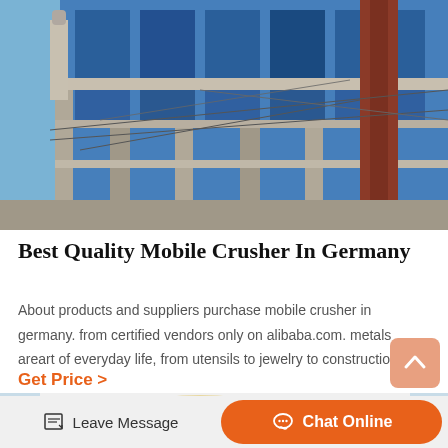[Figure (photo): Industrial facility with blue metal building structure, concrete pillars, red chimney/silo, and electrical cables against a clear sky.]
Best Quality Mobile Crusher In Germany
About products and suppliers purchase mobile crusher in germany. from certified vendors only on alibaba.com. metals areart of everyday life, from utensils to jewelry to construction…
Get Price  >
[Figure (photo): Partial view of industrial machinery/equipment, cream/yellow colored cylindrical mechanical parts against a light blue background.]
Leave Message
Chat Online